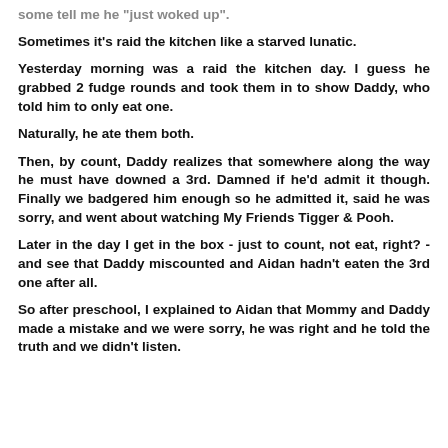some tell me he "just woked up".
Sometimes it's raid the kitchen like a starved lunatic.
Yesterday morning was a raid the kitchen day. I guess he grabbed 2 fudge rounds and took them in to show Daddy, who told him to only eat one.
Naturally, he ate them both.
Then, by count, Daddy realizes that somewhere along the way he must have downed a 3rd. Damned if he'd admit it though. Finally we badgered him enough so he admitted it, said he was sorry, and went about watching My Friends Tigger & Pooh.
Later in the day I get in the box - just to count, not eat, right? - and see that Daddy miscounted and Aidan hadn't eaten the 3rd one after all.
So after preschool, I explained to Aidan that Mommy and Daddy made a mistake and we were sorry, he was right and he told the truth and we didn't listen.